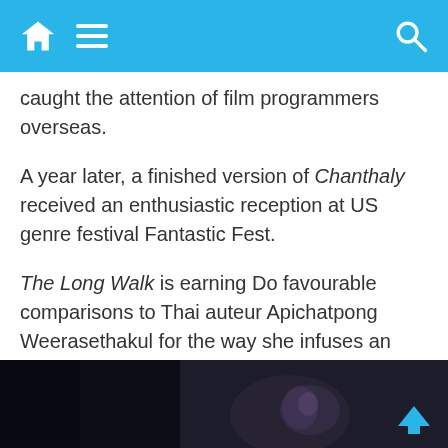Navigation header with home, menu, and search icons
caught the attention of film programmers overseas.
A year later, a finished version of Chanthaly received an enthusiastic reception at US genre festival Fantastic Fest.
The Long Walk is earning Do favourable comparisons to Thai auteur Apichatpong Weerasethakul for the way she infuses an intimate family drama with unexpected genre elements. Her films also feel profoundly authentic to contemporary Laotian life, despite being conceived in English.
[Figure (photo): Dark cinematic still from a film, showing a face partially lit in low light]